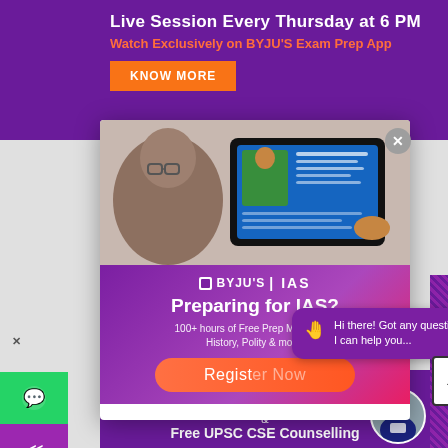[Figure (screenshot): BYJU'S Exam Prep promotional banner with 'Live Session Every Thursday at 6 PM' and 'Watch Exclusively on BYJU'S Exam Prep App' text, with a KNOW MORE orange button]
[Figure (screenshot): BYJU'S IAS modal popup showing a person studying on a tablet, with 'Preparing for IAS?' heading and '100+ hours of Free Prep Material on History, Polity & more!' subtext and a Register button]
Hi there! Got any questions? I can help you...
90% Scholarship!
& Free UPSC CSE Counselling